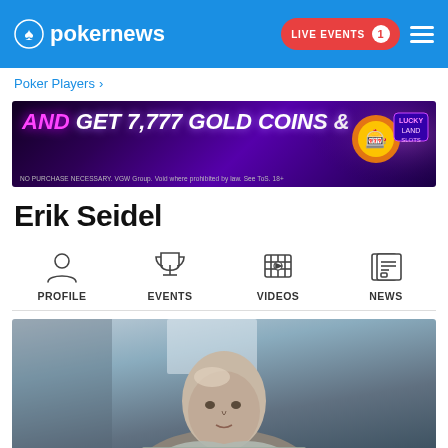pokernews — LIVE EVENTS 1
Poker Players >
[Figure (infographic): Advertisement banner: AND GET 7,777 GOLD COINS & with purple/neon background. NO PURCHASE NECESSARY. VGW Group. Void where prohibited by law. See ToS. 18+]
Erik Seidel
[Figure (infographic): Navigation tabs with icons: PROFILE (person icon), EVENTS (trophy icon), VIDEOS (film strip icon), NEWS (newspaper icon)]
[Figure (photo): Photo of Erik Seidel, a bald man in a grey shirt, looking slightly to the side, indoor background]